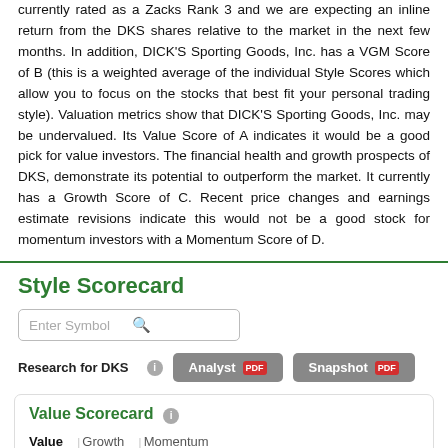currently rated as a Zacks Rank 3 and we are expecting an inline return from the DKS shares relative to the market in the next few months. In addition, DICK'S Sporting Goods, Inc. has a VGM Score of B (this is a weighted average of the individual Style Scores which allow you to focus on the stocks that best fit your personal trading style). Valuation metrics show that DICK'S Sporting Goods, Inc. may be undervalued. Its Value Score of A indicates it would be a good pick for value investors. The financial health and growth prospects of DKS, demonstrate its potential to outperform the market. It currently has a Growth Score of C. Recent price changes and earnings estimate revisions indicate this would not be a good stock for momentum investors with a Momentum Score of D.
Style Scorecard
Enter Symbol
Research for DKS
Analyst
Snapshot
Value Scorecard
Value | Growth | Momentum
| Value | DKS: | Industry | TSCO | KGFHY |
| --- | --- | --- | --- | --- |